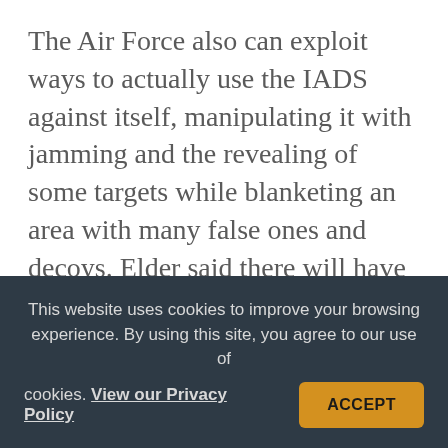The Air Force also can exploit ways to actually use the IADS against itself, manipulating it with jamming and the revealing of some targets while blanketing an area with many false ones and decoys. Elder said there will have to be attacks on some “key targets … [to] drive them to nonoptimum operations,” however.
Because enemies have become so dependent on electronics to network their systems—like the US—Elder said he expects there will be use of electromagnetic pulse
This website uses cookies to improve your browsing experience. By using this site, you agree to our use of cookies. View our Privacy Policy
ACCEPT